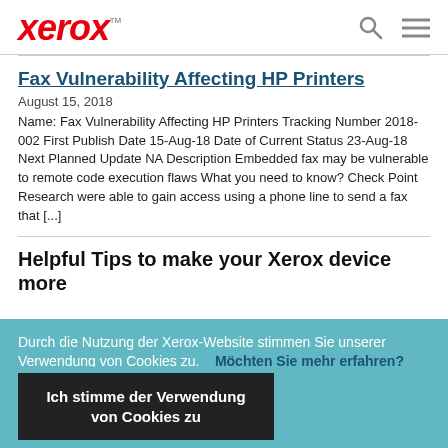xerox™
Fax Vulnerability Affecting HP Printers
August 15, 2018
Name: Fax Vulnerability Affecting HP Printers Tracking Number 2018-002 First Publish Date 15-Aug-18 Date of Current Status 23-Aug-18 Next Planned Update NA Description Embedded fax may be vulnerable to remote code execution flaws What you need to know? Check Point Research were able to gain access using a phone line to send a fax that [...]
Helpful Tips to make your Xerox device more
Durch die Nutzung der Xerox-Website stimmen Sie unserer Verwendung von Cookies zu.    Möchten Sie mehr erfahren?
Ich stimme der Verwendung von Cookies zu
have access to it. This helps keep outsiders from accessing the machine and interrupting your business. Change default